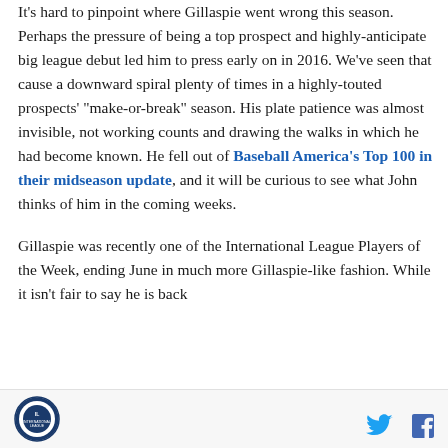It's hard to pinpoint where Gillaspie went wrong this season. Perhaps the pressure of being a top prospect and highly-anticipate big league debut led him to press early on in 2016. We've seen that cause a downward spiral plenty of times in a highly-touted prospects' "make-or-break" season. His plate patience was almost invisible, not working counts and drawing the walks in which he had become known. He fell out of Baseball America's Top 100 in their midseason update, and it will be curious to see what John thinks of him in the coming weeks.

Gillaspie was recently one of the International League Players of the Week, ending June in much more Gillaspie-like fashion. While it isn't fair to say he is back
[Figure (logo): International League circular logo in blue and white]